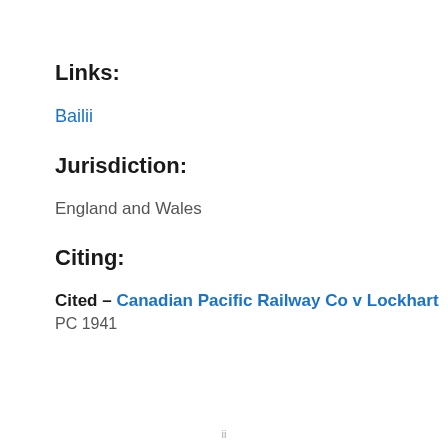Links:
Bailii
Jurisdiction:
England and Wales
Citing:
Cited – Canadian Pacific Railway Co v Lockhart PC 1941